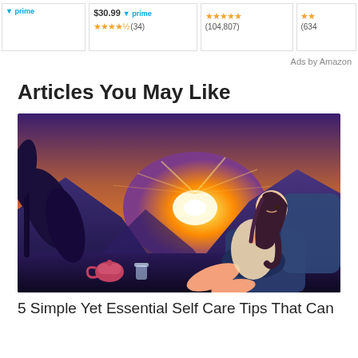[Figure (screenshot): Amazon product cards showing price $30.99, prime badge, star ratings (34 reviews), and another product with 104,807 reviews, and partial card with 634+ reviews]
Ads by Amazon
Articles You May Like
[Figure (illustration): Illustration of a woman relaxing in a chair watching a sunset over mountains, with tropical plants, a tea pot and glass on a table nearby. Warm orange sunset glow with purple/blue shadows.]
5 Simple Yet Essential Self Care Tips That Can